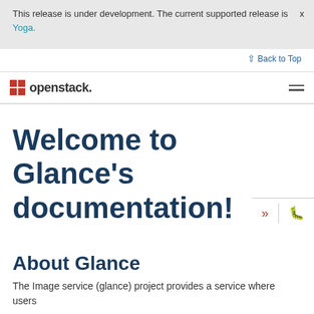This release is under development. The current supported release is Yoga.
[Figure (logo): OpenStack logo with red square icon and 'openstack.' text]
Welcome to Glance's documentation!
About Glance
The Image service (glance) project provides a service where users